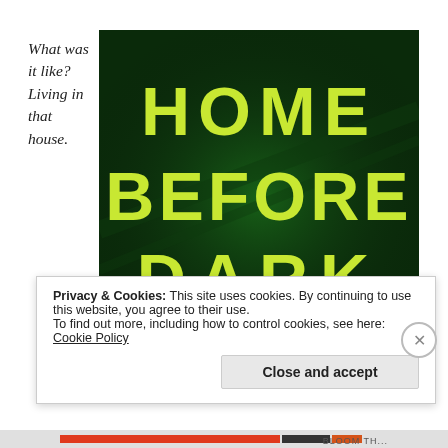What was it like? Living in that house.
[Figure (illustration): Book cover of 'Home Before Dark' with large yellow-green block letters on a dark green background with atmospheric lighting effects.]
Privacy & Cookies: This site uses cookies. By continuing to use this website, you agree to their use.
To find out more, including how to control cookies, see here: Cookie Policy
Close and accept